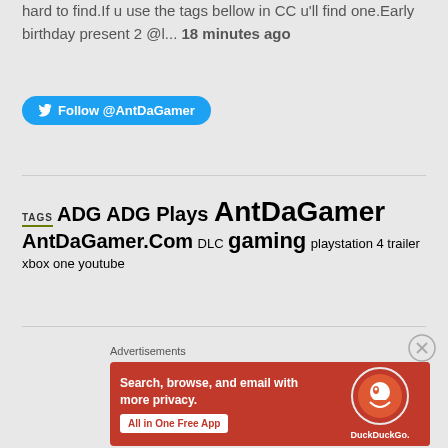hard to find.If u use the tags bellow in CC u'll find one.Early birthday present 2 @l... 18 minutes ago
Follow @AntDaGamer
TAGS ADG ADG Plays AntDaGamer AntDaGamer.Com DLC gaming playstation 4 trailer xbox one youtube
Advertisements
[Figure (screenshot): DuckDuckGo advertisement banner: orange/red background with text 'Search, browse, and email with more privacy. All in One Free App' and DuckDuckGo logo with phone image]